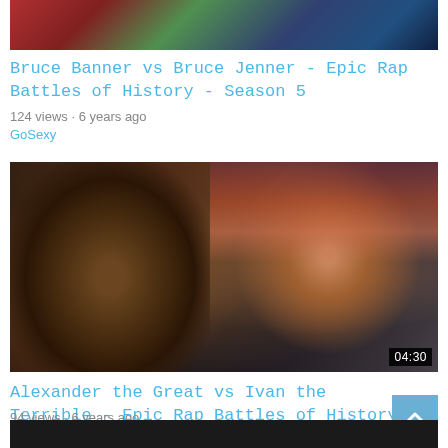[Figure (photo): Top cropped video thumbnail showing colorful scene (partial, top of page)]
Bruce Banner vs Bruce Jenner - Epic Rap Battles of History - Season 5
124 views · 6 years ago
GoSexy
[Figure (photo): Video thumbnail showing two men: one with large fur hat and beard (Ivan the Terrible), one with curly dark hair and open mouth (Alexander the Great), duration badge 04:30]
Alexander the Great vs Ivan the Terrible - Epic Rap Battles of History Season 5
94 views · 6 years ago
GoSexy
[Figure (photo): Partial bottom video thumbnail, dark scene, partially cropped]